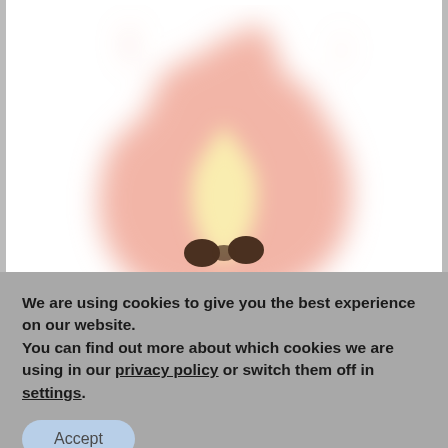[Figure (illustration): A blurred flame / fire emoji icon with a light salmon/pink outer flame, a yellow-cream inner flame glow, and two dark brown oval eyes at the base, centered on a white background with gray side borders.]
We are using cookies to give you the best experience on our website.
You can find out more about which cookies we are using in our privacy policy or switch them off in settings.
Accept